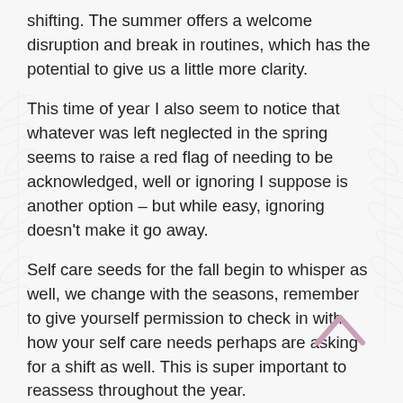shifting. The summer offers a welcome disruption and break in routines, which has the potential to give us a little more clarity.
This time of year I also seem to notice that whatever was left neglected in the spring seems to raise a red flag of needing to be acknowledged, well or ignoring I suppose is another option – but while easy, ignoring doesn't make it go away.
Self care seeds for the fall begin to whisper as well, we change with the seasons, remember to give yourself permission to check in with how your self care needs perhaps are asking for a shift as well. This is super important to reassess throughout the year.
I strongly believe that everything we need to thrive is available to us through the gifts of the earth